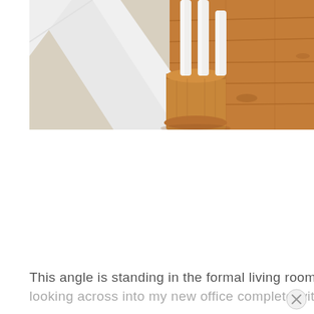[Figure (photo): A staircase newel post base made of warm honey-colored wood, with white painted balusters above it. The left side shows light beige carpet on the stairs, and the right side shows hardwood flooring in warm orange-brown tones. A white baseboard and stair stringer are visible in the background.]
This angle is standing in the formal living room looking across into my new office complete with formal staircase.